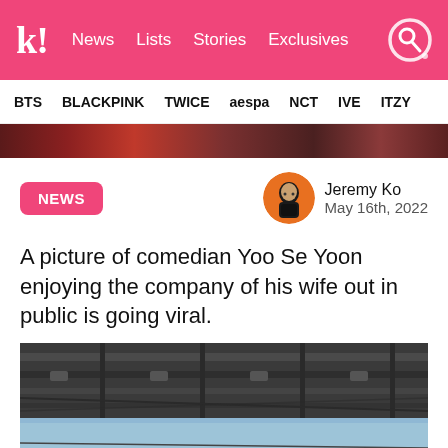k! News Lists Stories Exclusives
BTS BLACKPINK TWICE aespa NCT IVE ITZY
[Figure (photo): Hero image strip showing partial view of people]
NEWS
[Figure (photo): Author avatar: Jeremy Ko, man in black suit with orange background]
Jeremy Ko
May 16th, 2022
A picture of comedian Yoo Se Yoon enjoying the company of his wife out in public is going viral.
[Figure (photo): Outdoor photo looking up at an underpass or bridge structure with metal beams, blue sky visible]